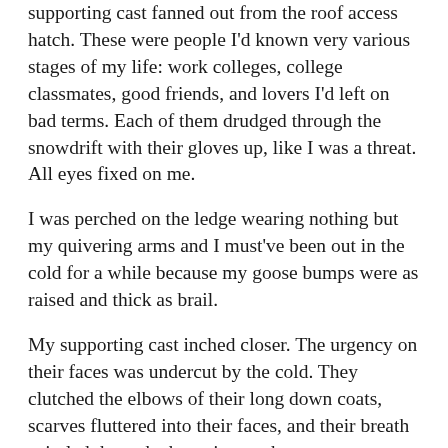supporting cast fanned out from the roof access hatch. These were people I'd known very various stages of my life: work colleges, college classmates, good friends, and lovers I'd left on bad terms. Each of them drudged through the snowdrift with their gloves up, like I was a threat. All eyes fixed on me.
I was perched on the ledge wearing nothing but my quivering arms and I must've been out in the cold for a while because my goose bumps were as raised and thick as brail.
My supporting cast inched closer. The urgency on their faces was undercut by the cold. They clutched the elbows of their long down coats, scarves fluttered into their faces, and their breath spiraled through chattering teeth.
The cast was restless, teetering on their marks, waiting for me to get back on script.
An ex girlfriend in a long goose feather coat stepped forward,